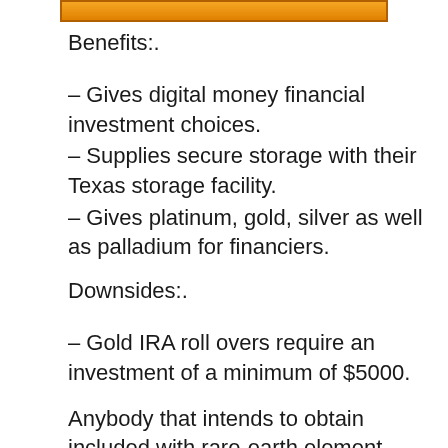[Figure (other): Orange/gold gradient banner bar at top of page]
Benefits:.
– Gives digital money financial investment choices.
– Supplies secure storage with their Texas storage facility.
– Gives platinum, gold, silver as well as palladium for financiers.
Downsides:.
– Gold IRA roll overs require an investment of a minimum of $5000.
Anybody that intends to obtain included with rare-earth element investments, ought to